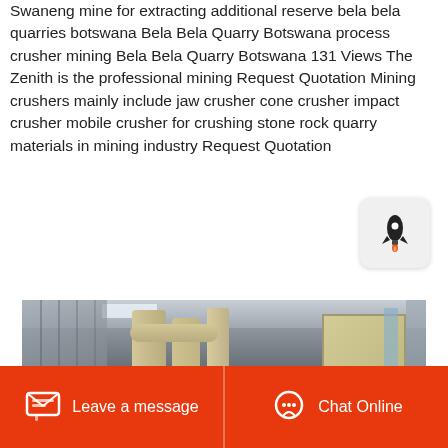Swaneng mine for extracting additional reserve bela bela quarries botswana Bela Bela Quarry Botswana process crusher mining Bela Bela Quarry Botswana 131 Views The Zenith is the professional mining Request Quotation Mining crushers mainly include jaw crusher cone crusher impact crusher mobile crusher for crushing stone rock quarry materials in mining industry Request Quotation
Get Price
[Figure (photo): Industrial mining facility interior showing large yellow/cream colored cylindrical pipes and ductwork inside a corrugated metal warehouse, with a box-like equipment unit on the right side]
Leave a message
Chat Online